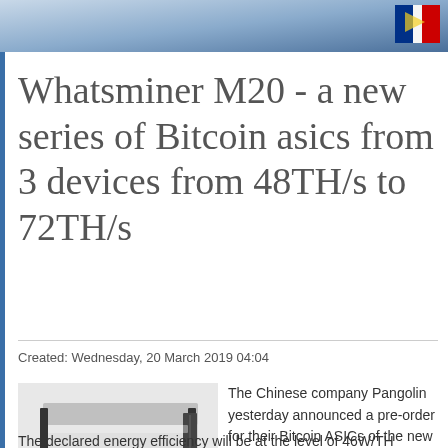[Figure (photo): Banner image with blue/grey gradient background and a small flag graphic in the top right corner]
Whatsminer M20 - a new series of Bitcoin asics from 3 devices from 48TH/s to 72TH/s
Created: Wednesday, 20 March 2019 04:04
[Figure (photo): Photo of the Whatsminer M20 Bitcoin ASIC mining device, a white/silver rectangular hardware unit with a blue label panel]
The Chinese company Pangolin yesterday announced a pre-order for their Bitcoin ASICs of the new generation Whatsminer M20, made according to the technological standards 12nm.
The declared energy efficiency will be at the level of 46W/TH